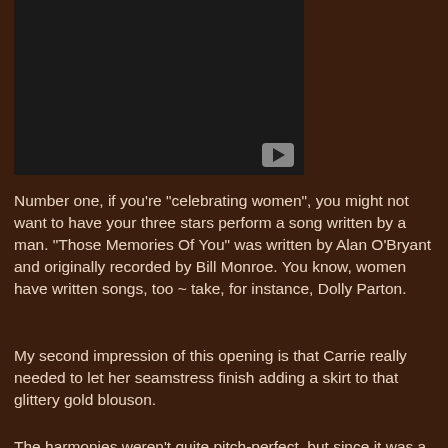[Figure (screenshot): Embedded video thumbnail showing a dark/black video frame with a YouTube-style play button in the lower right corner]
Number one, if you're "celebrating women", you might not want to have your three stars perform a song written by a man. "Those Memories Of You" was written by Alan O'Bryant and originally recorded by Bill Monroe. You know, women have written songs, too ~ take, for instance, Dolly Parton.
My second impression of this opening is that Carrie really needed to let her seamstress finish adding a skirt to that glittery gold blouson.
The harmonies weren't quite pitch-perfect, but since it was a live performance, a little slack should be granted.
Number three:  Is that Angelina Jolie in the audience, and if so, why?